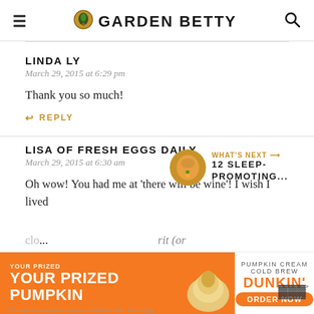GARDEN BETTY
LINDA LY
March 29, 2015 at 6:29 pm
Thank you so much!
↩ REPLY
LISA OF FRESH EGGS DAILY
March 29, 2015 at 6:30 am
Oh wow! You had me at 'there will be wine'! I wish I lived clo... rit (or sho... your book
[Figure (screenshot): Dunkin ad banner: YOUR PRIZED PUMPKIN - PUMPKIN CREAM COLD BREW DUNKIN' ORDER NOW]